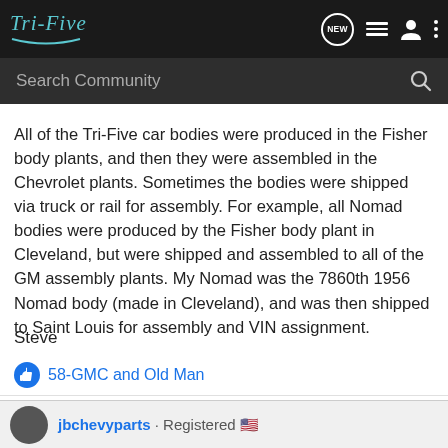Tri-Five — Navigation bar with NEW, list, user, and more icons
Search Community
All of the Tri-Five car bodies were produced in the Fisher body plants, and then they were assembled in the Chevrolet plants. Sometimes the bodies were shipped via truck or rail for assembly. For example, all Nomad bodies were produced by the Fisher body plant in Cleveland, but were shipped and assembled to all of the GM assembly plants. My Nomad was the 7860th 1956 Nomad body (made in Cleveland), and was then shipped to Saint Louis for assembly and VIN assignment.
Steve
58-GMC and Old Man
jbchevyparts · Registered 🇺🇸